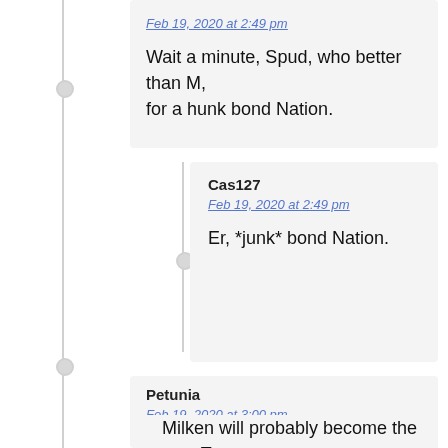Feb 19, 2020 at 2:49 pm
Wait a minute, Spud, who better than M, for a hunk bond Nation.
Cas127
Feb 19, 2020 at 2:49 pm
Er, *junk* bond Nation.
Petunia
Feb 19, 2020 at 3:00 pm
Milken will probably become the next Treasury Secretary, Kerik the next Attorney General, and Blagojevich the next Chief of Staff.